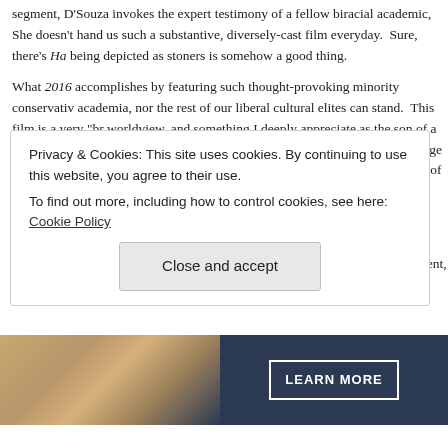segment, D'Souza invokes the expert testimony of a fellow biracial academic, She doesn't hand us such a substantive, diversely-cast film everyday. Sure, there's Ha being depicted as stoners is somehow a good thing.
What 2016 accomplishes by featuring such thought-provoking minority conservative academia, nor the rest of our liberal cultural elites can stand. This film is a very "br worldview, and something I deeply appreciate as the son of a Southeast Asian imm relates his own college experience to spotlight the strange thinking of some Americ expectations that I encountered as a college student of color.
Minority conservatives are to be found not just on screen, but on stage, at the Rep Speakers like Nikki Haley, Artur Davis, Condoleezza Rice and Susana Martinez ha liberalism while affirming all that makes America powerful, decent, and good.
[Figure (photo): Partial image of hands with dark navy background and a LEARN MORE button]
Privacy & Cookies: This site uses cookies. By continuing to use this website, you agree to their use. To find out more, including how to control cookies, see here: Cookie Policy
Close and accept